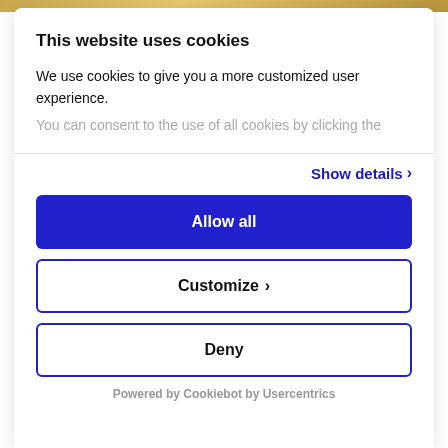This website uses cookies
We use cookies to give you a more customized user experience.
You can consent to the use of all cookies by clicking the
Show details ›
Allow all
Customize ›
Deny
Powered by Cookiebot by Usercentrics